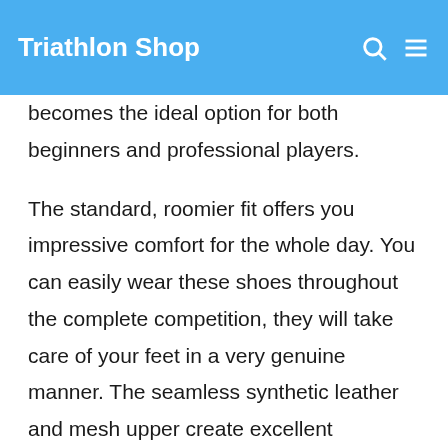Triathlon Shop
becomes the ideal option for both beginners and professional players.
The standard, roomier fit offers you impressive comfort for the whole day. You can easily wear these shoes throughout the complete competition, they will take care of your feet in a very genuine manner. The seamless synthetic leather and mesh upper create excellent breathability to maintain the airflow through your feet and to maintain